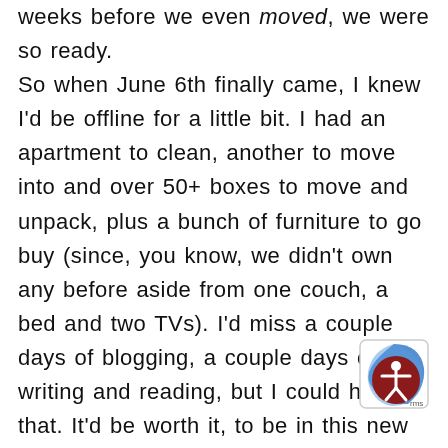weeks before we even moved, we were so ready. So when June 6th finally came, I knew I'd be offline for a little bit. I had an apartment to clean, another to move into and over 50+ boxes to move and unpack, plus a bunch of furniture to go buy (since, you know, we didn't own any before aside from one couch, a bed and two TVs). I'd miss a couple days of blogging, a couple days of writing and reading, but I could handle that. It'd be worth it, to be in this new space. And it is! There were a few hiccups at the beginning, as there always are, but we got moved and we unpacked; slowly we